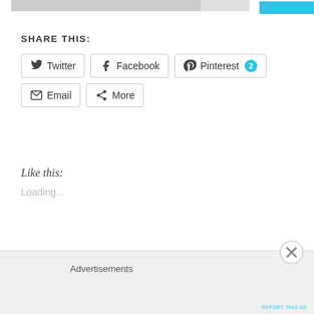SHARE THIS:
Twitter
Facebook
Pinterest 2
Email
More
Like this:
Loading...
Friday Family-
Advertisements
REPORT THIS AD
REPORT THIS AD